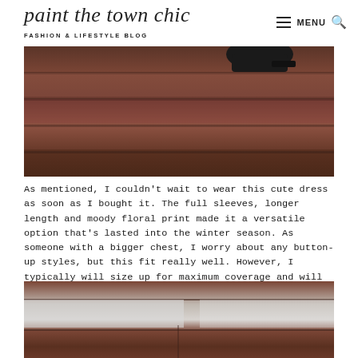paint the town chic — FASHION & LIFESTYLE BLOG
[Figure (photo): Close-up photo of stone/granite steps with a black boot/shoe visible at the top, warm reddish-brown granite tones]
As mentioned, I couldn't wait to wear this cute dress as soon as I bought it. The full sleeves, longer length and moody floral print made it a versatile option that's lasted into the winter season. As someone with a bigger chest, I worry about any button-up styles, but this fit really well. However, I typically will size up for maximum coverage and will add a fun belt, such as this chain belt, to tighten everything at the waist!
[Figure (photo): Close-up photo of stone/granite steps with snow visible, reddish-brown granite tones]